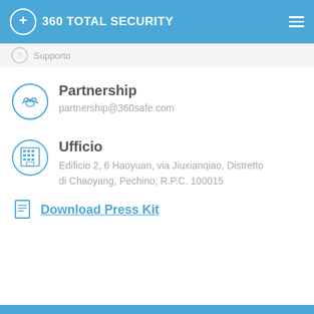360 Total Security
Supporto
Partnership
partnership@360safe.com
Ufficio
Edificio 2, 6 Haoyuan, via Jiuxianqiao, Distretto di Chaoyang, Pechino, R.P.C. 100015
Download Press Kit